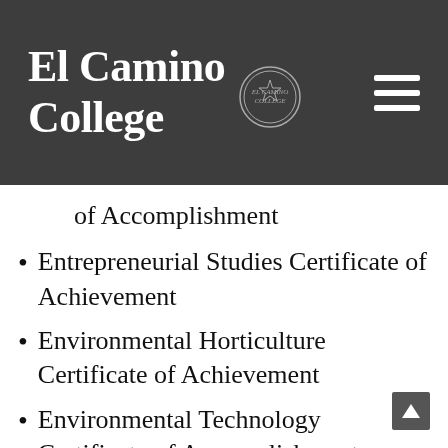[Figure (logo): El Camino College logo with seal and hamburger menu on dark background header]
of Accomplishment (partial, continuation from previous)
Entrepreneurial Studies Certificate of Achievement
Environmental Horticulture Certificate of Achievement
Environmental Technology Certificate of Accomplishment
Euro Hardware Certificate of Accomplishment
Fashion Design and Production Certificate of Achievement (partial)